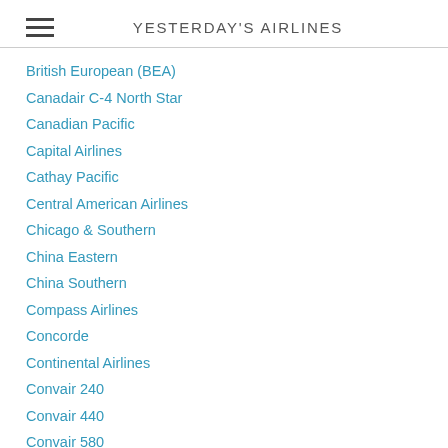YESTERDAY'S AIRLINES
British European (BEA)
Canadair C-4 North Star
Canadian Pacific
Capital Airlines
Cathay Pacific
Central American Airlines
Chicago & Southern
China Eastern
China Southern
Compass Airlines
Concorde
Continental Airlines
Convair 240
Convair 440
Convair 580
Convair 880
Convair 990